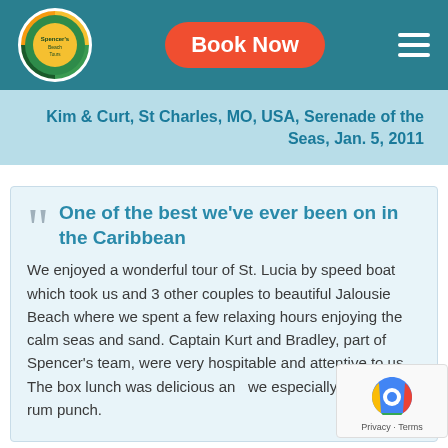Book Now
Kim & Curt, St Charles, MO, USA, Serenade of the Seas, Jan. 5, 2011
One of the best we've ever been on in the Caribbean
We enjoyed a wonderful tour of St. Lucia by speed boat which took us and 3 other couples to beautiful Jalousie Beach where we spent a few relaxing hours enjoying the calm seas and sand. Captain Kurt and Bradley, part of Spencer's team, were very hospitable and attentive to us. The box lunch was delicious and we especially enjoyed the rum punch.